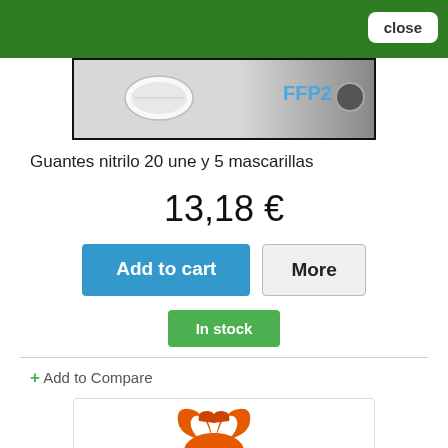[Figure (screenshot): Green website header bar with a 'close' button in the top right corner]
[Figure (photo): Product image showing nitrile gloves and FFP2 mask packaging with text 'FFP2']
Guantes nitrilo 20 une y 5 mascarillas
13,18 €
[Figure (screenshot): Blue 'Add to cart' button and grey 'More' button side by side]
[Figure (screenshot): Green 'In stock' button]
+ Add to Compare
[Figure (photo): Orange rubber gloves product image at the bottom of the page]